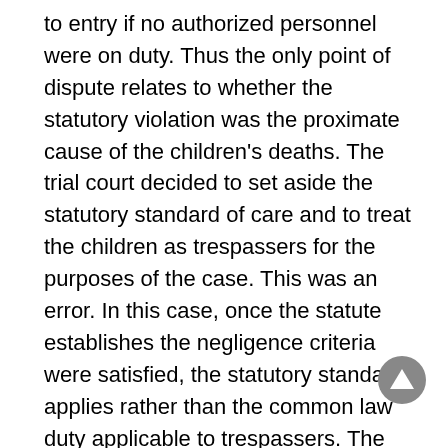to entry if no authorized personnel were on duty. Thus the only point of dispute relates to whether the statutory violation was the proximate cause of the children's deaths. The trial court decided to set aside the statutory standard of care and to treat the children as trespassers for the purposes of the case. This was an error. In this case, once the statute establishes the negligence criteria were satisfied, the statutory standard applies rather than the common law duty applicable to trespassers. The verdict is vacated and the case remanded.
Dissent. (Eismann, J.) The majority opinion treats the regulations cited by the court as designed to prevent the type of harm which occurred in the